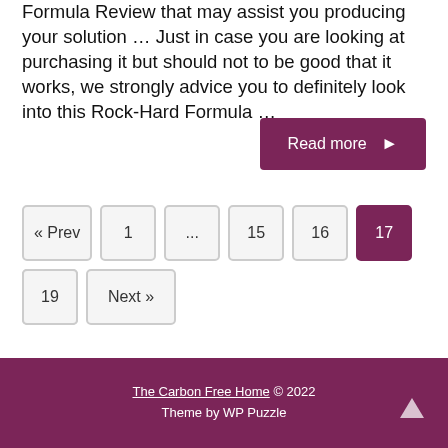Formula Review that may assist you producing your solution … Just in case you are looking at purchasing it but should not to be good that it works, we strongly advice you to definitely look into this Rock-Hard Formula …
Read more ►
« Prev
1
...
15
16
17
18
19
Next »
The Carbon Free Home © 2022 Theme by WP Puzzle